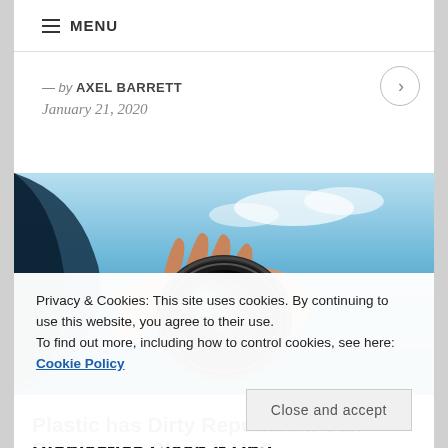☰ MENU
— by AXEL BARRETT
January 21, 2020
[Figure (photo): A hand holding a camera lens against a blue sky background]
Privacy & Cookies: This site uses cookies. By continuing to use this website, you agree to their use.
To find out more, including how to control cookies, see here: Cookie Policy
Close and accept
TRENDS
Plastic has Dirty Reputation. Can Bioplastics Clean It Up?